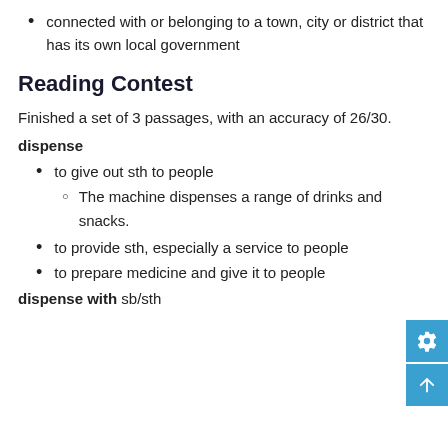connected with or belonging to a town, city or district that has its own local government
Reading Contest
Finished a set of 3 passages, with an accuracy of 26/30.
dispense
to give out sth to people
The machine dispenses a range of drinks and snacks.
to provide sth, especially a service to people
to prepare medicine and give it to people
dispense with sb/sth